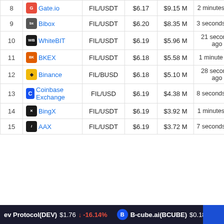| # | Exchange | Pair | Price | Volume | Updated |
| --- | --- | --- | --- | --- | --- |
| 8 | Gate.io | FIL/USDT | $6.17 | $9.15 M | 2 minutes ago |
| 9 | Bibox | FIL/USDT | $6.20 | $8.35 M | 3 seconds ago |
| 10 | WhiteBIT | FIL/USDT | $6.19 | $5.96 M | 21 seconds ago |
| 11 | BKEX | FIL/USDT | $6.18 | $5.58 M | 1 minute ago |
| 12 | Binance | FIL/BUSD | $6.18 | $5.10 M | 28 seconds ago |
| 13 | Coinbase Exchange | FIL/USD | $6.19 | $4.38 M | 8 seconds ago |
| 14 | BingX | FIL/USDT | $6.19 | $3.92 M | 1 minutes ago |
| 15 | AAX | FIL/USDT | $6.19 | $3.72 M | 7 seconds ago |
Dev Protocol(DEV) $1.76 ↓ -16.14% | B-cube.ai(BCUBE) $0.18333...